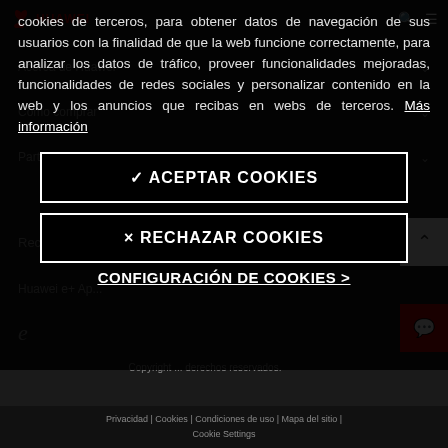HUAWEI
cookies de terceros, para obtener datos de navegación de sus usuarios con la finalidad de que la web funcione correctamente, para analizar los datos de tráfico, proveer funcionalidades mejoradas, funcionalidades de redes sociales y personalizar contenido en la web y los anuncios que recibas en webs de terceros. Más información
Recursos
Cómo comprar
Partners
Huawei e+ Ap...
e
√ ACEPTAR COOKIES
× RECHAZAR COOKIES
CONFIGURACIÓN DE COOKIES >
Copyright ... derechos reservados.
Privacidad | Cookies | Condiciones de uso | Mapa del sitio | Cookie Settings